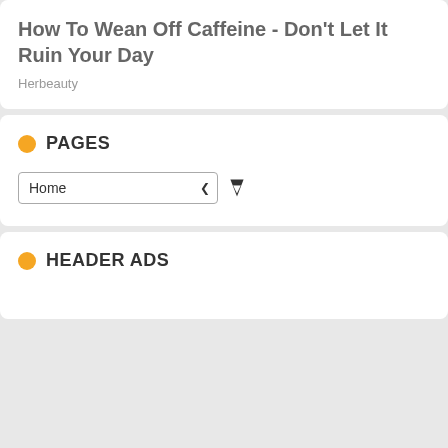How To Wean Off Caffeine - Don't Let It Ruin Your Day
Herbeauty
PAGES
Home
HEADER ADS